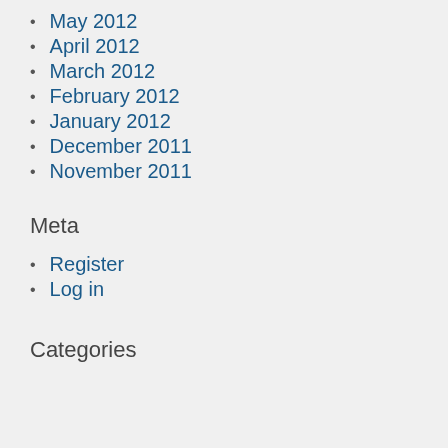May 2012
April 2012
March 2012
February 2012
January 2012
December 2011
November 2011
Meta
Register
Log in
Categories